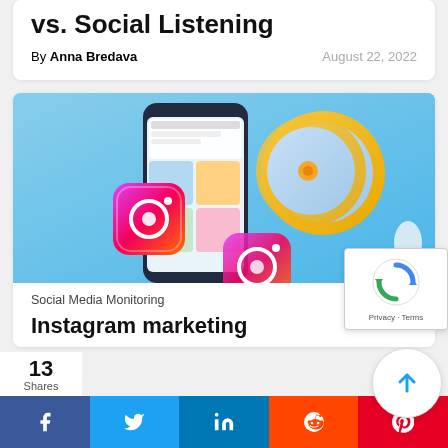vs. Social Listening
By Anna Bredava    August 22, 2022
[Figure (photo): 3D illustration of a megaphone/bullhorn with Instagram logo icon and a smartphone showing Instagram feed, against a light blue background]
Social Media Monitoring
Instagram marketing
13 Shares
[Figure (infographic): Social share bar with Facebook, Twitter, LinkedIn, Reddit, and Pinterest buttons]